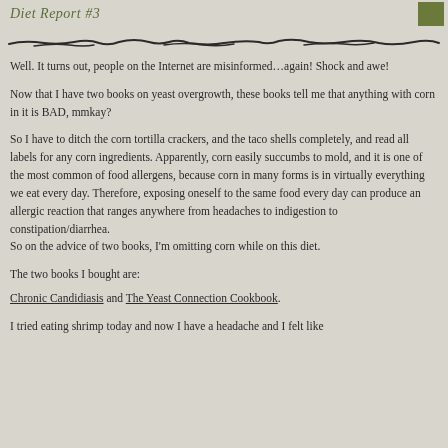Diet Report #3
[Figure (illustration): Decorative horizontal divider line with sketchy/hand-drawn style]
Well. It turns out, people on the Internet are misinformed…again! Shock and awe!
Now that I have two books on yeast overgrowth, these books tell me that anything with corn in it is BAD, mmkay?
So I have to ditch the corn tortilla crackers, and the taco shells completely, and read all labels for any corn ingredients. Apparently, corn easily succumbs to mold, and it is one of the most common of food allergens, because corn in many forms is in virtually everything we eat every day. Therefore, exposing oneself to the same food every day can produce an allergic reaction that ranges anywhere from headaches to indigestion to constipation/diarrhea.
So on the advice of two books, I'm omitting corn while on this diet.
The two books I bought are:
Chronic Candidiasis and The Yeast Connection Cookbook.
I tried eating shrimp today and now I have a headache and I felt like